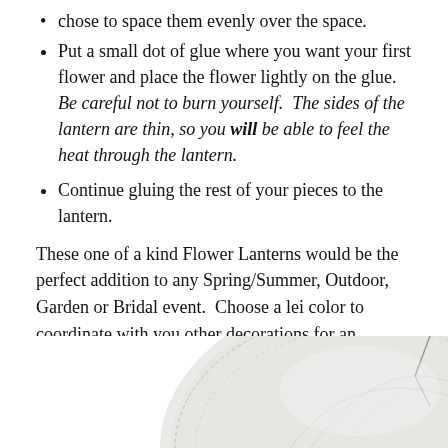chose to space them evenly over the space.
Put a small dot of glue where you want your first flower and place the flower lightly on the glue.  Be careful not to burn yourself.  The sides of the lantern are thin, so you will be able to feel the heat through the lantern.
Continue gluing the rest of your pieces to the lantern.
These one of a kind Flower Lanterns would be the perfect addition to any Spring/Summer, Outdoor, Garden or Bridal event.  Choose a lei color to coordinate with you other decorations for an elegant, beautiful look.  Visit PartyCheap for more items to match your theme!
Doily Paper Lantern
[Figure (photo): Partial image of a white doily paper lantern, showing the top portion of the lantern with a soft grey/white color.]